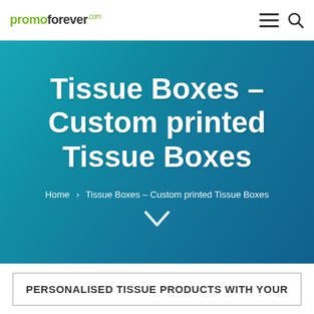promoforever.com
Tissue Boxes – Custom printed Tissue Boxes
Home > Tissue Boxes – Custom printed Tissue Boxes
PERSONALISED TISSUE PRODUCTS WITH YOUR